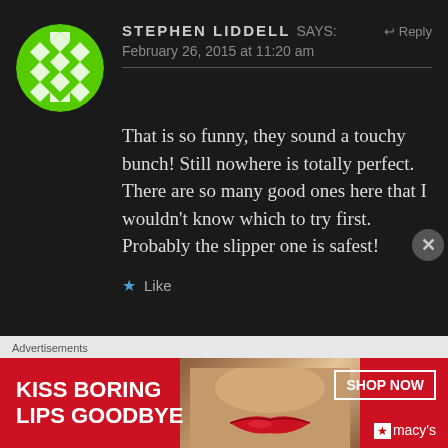[Figure (illustration): Green circular avatar with white geometric diamond/rhombus pattern]
STEPHEN LIDDELL says:   ↩ Reply
February 26, 2015 at 11:20 am
That is so funny, they sound a touchy bunch! Still nowhere is totally perfect. There are so many good ones here that I wouldn't know which to try first. Probably the slipper one is safest!
★ Like
Advertisements
[Figure (photo): Macy's advertisement banner: red background with 'KISS BORING LIPS GOODBYE' text, woman's face with red lips in center, SHOP NOW button and Macy's logo on right]